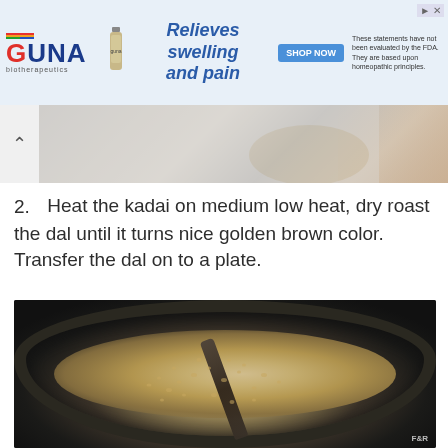[Figure (other): GUNA biotherapeutics advertisement banner — logo with rainbow stripe, product bottle, text 'Relieves swelling and pain', SHOP NOW button, disclaimer text about FDA evaluation]
[Figure (photo): Partial photo visible at top — appears to show flour or powder being handled by a hand, cropped]
2. Heat the kadai on medium low heat, dry roast the dal until it turns nice golden brown color. Transfer the dal on to a plate.
[Figure (photo): Photo of a dark kadai (wok/pan) with dal (lentils) being dry roasted, a dark spatula visible in the pan. Watermark 'F&R' in bottom right corner.]